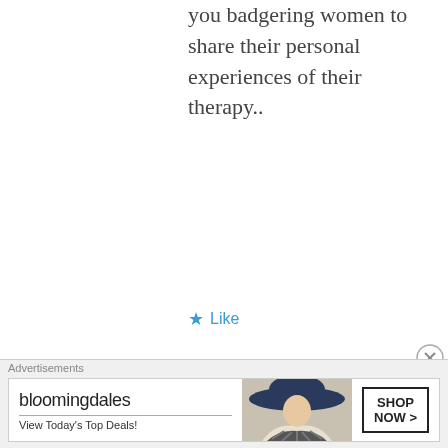you badgering women to share their personal experiences of their therapy..
★ Like
Elle Beau
MAR 25, 2018 AT 12:53 AM
[Figure (illustration): Cartoon avatar of a woman with blonde ponytail]
I am really blown away by
Advertisements
[Figure (screenshot): Bloomingdale's advertisement banner: 'View Today's Top Deals!' with SHOP NOW > button]